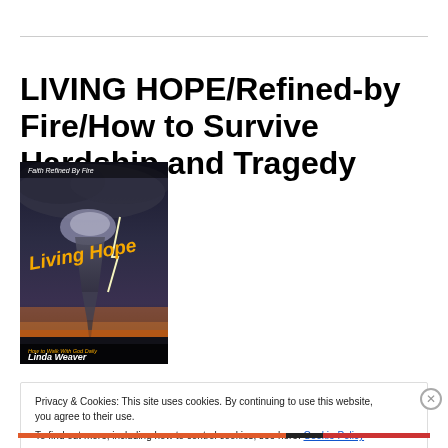LIVING HOPE/Refined-by Fire/How to Survive Hardship and Tragedy
[Figure (photo): Book cover for 'Living Hope / Faith Refined By Fire' by Linda Weaver, showing a tornado and lightning storm on a dark sky background with the title 'Living Hope' in orange text and author name 'Linda Weaver' at the bottom.]
Privacy & Cookies: This site uses cookies. By continuing to use this website, you agree to their use.
To find out more, including how to control cookies, see here: Cookie Policy